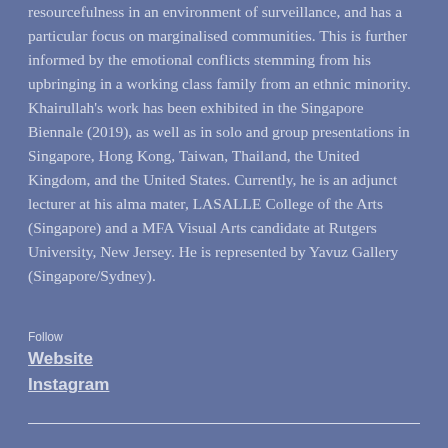resourcefulness in an environment of surveillance, and has a particular focus on marginalised communities. This is further informed by the emotional conflicts stemming from his upbringing in a working class family from an ethnic minority. Khairullah's work has been exhibited in the Singapore Biennale (2019), as well as in solo and group presentations in Singapore, Hong Kong, Taiwan, Thailand, the United Kingdom, and the United States. Currently, he is an adjunct lecturer at his alma mater, LASALLE College of the Arts (Singapore) and a MFA Visual Arts candidate at Rutgers University, New Jersey. He is represented by Yavuz Gallery (Singapore/Sydney).
Follow
Website
Instagram